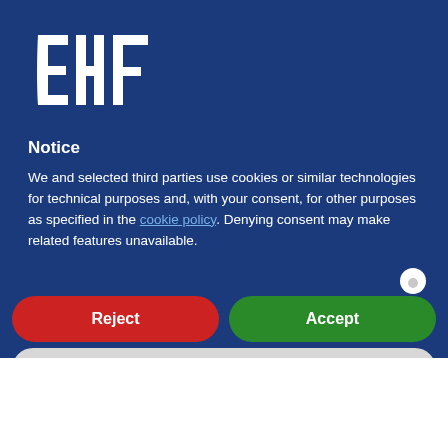[Figure (logo): EHF logo — white stylized letters E, H, F on dark blue background]
Notice
We and selected third parties use cookies or similar technologies for technical purposes and, with your consent, for other purposes as specified in the cookie policy. Denying consent may make related features unavailable.
Reject
Accept
Learn more and customize
Contact Us
Read Me